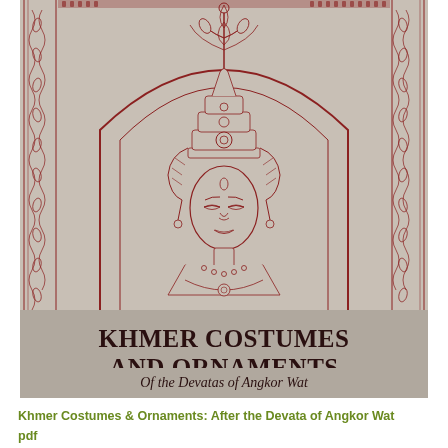[Figure (illustration): Cover illustration of a Khmer Devata figure with elaborate headdress and ornamental crown, shown from the shoulders up, set against an arched niche with decorative floral and geometric border patterns in dark red/brown on a light grey background. The figure has a serene expression with closed eyes.]
Khmer Costumes and Ornaments
Of the Devatas of Angkor Wat
Khmer Costumes & Ornaments: After the Devata of Angkor Wat pdf